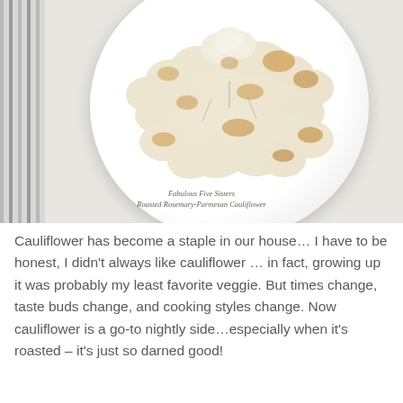[Figure (photo): A white bowl/plate filled with roasted cauliflower florets, golden-brown from roasting, placed on a marble countertop with a striped cloth napkin to the left. Watermark text reads 'Fabulous Five Sisters / Roasted Rosemary-Parmesan Cauliflower'.]
Cauliflower has become a staple in our house… I have to be honest, I didn't always like cauliflower … in fact, growing up it was probably my least favorite veggie. But times change, taste buds change, and cooking styles change. Now cauliflower is a go-to nightly side…especially when it's roasted – it's just so darned good!